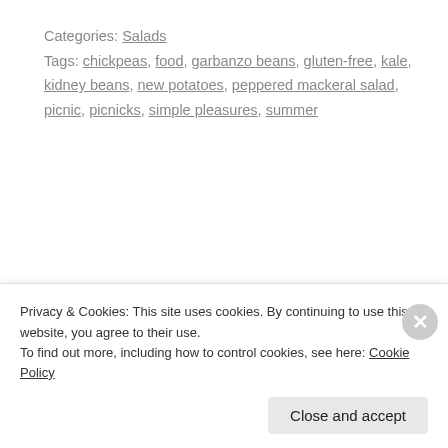Categories: Salads
Tags: chickpeas, food, garbanzo beans, gluten-free, kale, kidney beans, new potatoes, peppered mackeral salad, picnic, picnicks, simple pleasures, summer
PREVIOUS POST
Rustic Knots with Dandelion or Nettle
NEXT POST
Privacy & Cookies: This site uses cookies. By continuing to use this website, you agree to their use.
To find out more, including how to control cookies, see here: Cookie Policy